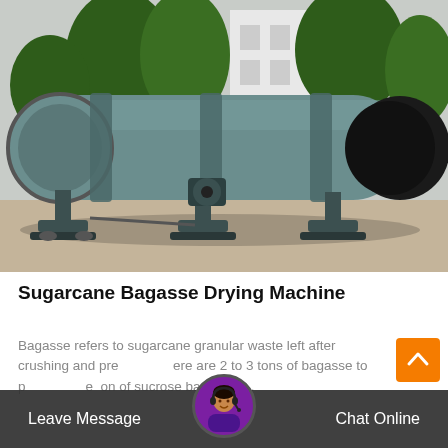[Figure (photo): Large rotary drum dryer machine (sugarcane bagasse drying machine) photographed outdoors in a factory yard. The machine is a long cylindrical tube mounted on a metal frame, painted gray-green. Trees and a building are visible in the background.]
Sugarcane Bagasse Drying Machine
Bagasse refers to sugarcane granular waste left after crushing and pressing. There are 2 to 3 tons of bagasse to produce one ton of sucrose bagasse i...
[Figure (other): Orange scroll-to-top button with an upward-pointing chevron arrow icon.]
Leave Message   Chat Online